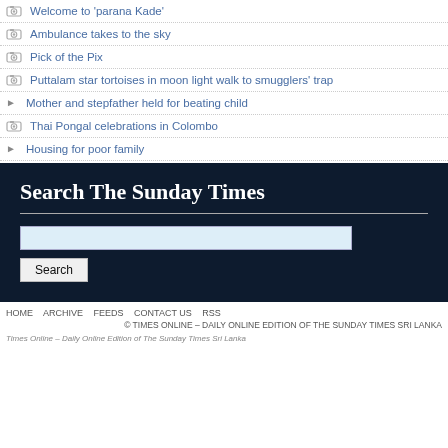Welcome to 'parana Kade'
Ambulance takes to the sky
Pick of the Pix
Puttalam star tortoises in moon light walk to smugglers' trap
Mother and stepfather held for beating child
Thai Pongal celebrations in Colombo
Housing for poor family
Search The Sunday Times
HOME   ARCHIVE   FEEDS   CONTACT US   RSS
© TIMES ONLINE – DAILY ONLINE EDITION OF THE SUNDAY TIMES SRI LANKA
Times Online – Daily Online Edition of The Sunday Times Sri Lanka